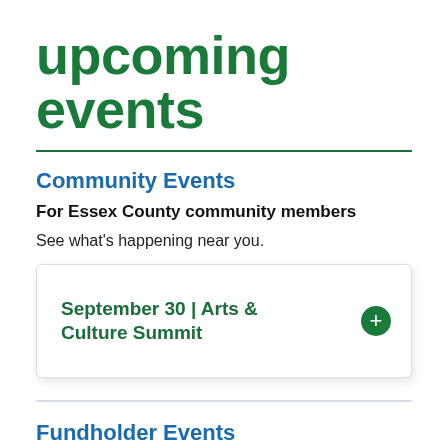upcoming events
Community Events
For Essex County community members
See what's happening near you.
September 30 | Arts & Culture Summit
Fundholder Events